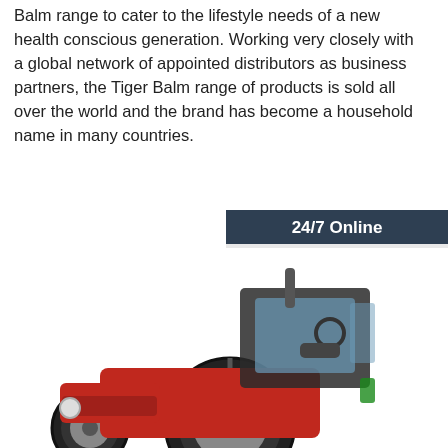Balm range to cater to the lifestyle needs of a new health conscious generation. Working very closely with a global network of appointed distributors as business partners, the Tiger Balm range of products is sold all over the world and the brand has become a household name in many countries.
[Figure (other): 24/7 Online customer service sidebar with a photo of a smiling woman wearing a headset, dark navy background, with 'Click here for free chat!' text and an orange QUOTATION button]
[Figure (other): Orange 'Get Price' button]
[Figure (photo): Red tractor / farm vehicle photographed from the front-left angle on a white background, showing cab, large tyres, and red bodywork]